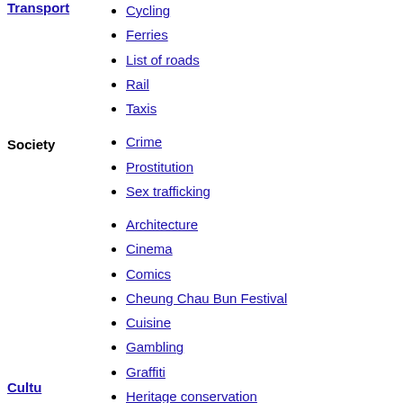Transport
Cycling
Ferries
List of roads
Rail
Taxis
Society
Crime
Prostitution
Sex trafficking
Architecture
Cinema
Comics
Cheung Chau Bun Festival
Cuisine
Gambling
Graffiti
Heritage conservation
Hong Kong orchid
Honours system
Languages
LGBT
Lion Rock Spirit
Literature
McDull
Media
Culture